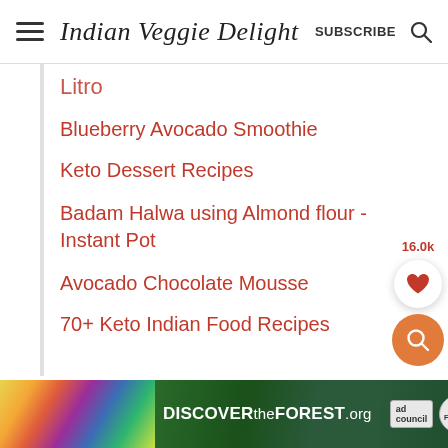Indian Veggie Delight  SUBSCRIBE
Blueberry Avocado Smoothie
Keto Dessert Recipes
Badam Halwa using Almond flour - Instant Pot
Avocado Chocolate Mousse
70+ Keto Indian Food Recipes
[Figure (screenshot): Share widget showing 16.0k saves count, heart icon button, and orange search button]
[Figure (screenshot): Advertisement banner for DISCOVERtheFOREST.org with colorful nature imagery, ad council badge, and USDA Forest Service badge]